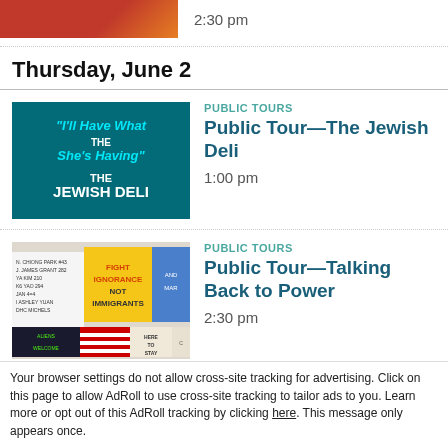[Figure (photo): Partial thumbnail image of an event, red/orange color, with time 2:30 pm]
2:30 pm
Thursday, June 2
[Figure (photo): Neon sign reading 'I'll Have What She's Having THE JEWISH DELI' on a dark teal background]
PUBLIC TOURS
Public Tour—The Jewish Deli
1:00 pm
[Figure (photo): Exhibition display with colorful banners including 'FIGHT IGNORANCE NOT IMMIGRANTS', 'HERE TO STAY', 'ALIENS WELCOME' and American flags]
PUBLIC TOURS
Public Tour—Talking Back to Power
2:30 pm
Friday, June 3
Accept and Close ✕
Your browser settings do not allow cross-site tracking for advertising. Click on this page to allow AdRoll to use cross-site tracking to tailor ads to you. Learn more or opt out of this AdRoll tracking by clicking here. This message only appears once.